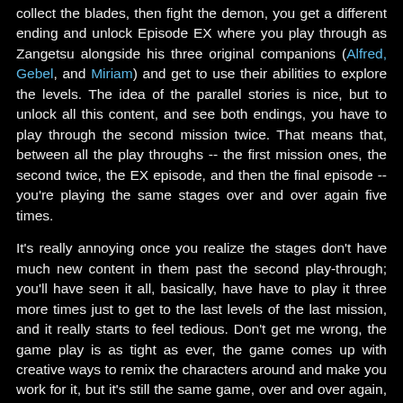collect the blades, then fight the demon, you get a different ending and unlock Episode EX where you play through as Zangetsu alongside his three original companions (Alfred, Gebel, and Miriam) and get to use their abilities to explore the levels. The idea of the parallel stories is nice, but to unlock all this content, and see both endings, you have to play through the second mission twice. That means that, between all the play throughs -- the first mission ones, the second twice, the EX episode, and then the final episode -- you're playing the same stages over and over again five times.
It's really annoying once you realize the stages don't have much new content in them past the second play-through; you'll have seen it all, basically, have have to play it three more times just to get to the last levels of the last mission, and it really starts to feel tedious. Don't get me wrong, the game play is as tight as ever, the game comes up with creative ways to remix the characters around and make you work for it, but it's still the same game, over and over again, for five missions. Even a few alternate levels on a couple of the play throughs would have really added some life and variety to the game.
It does lead to a great reveal at the end, though. The last mission...